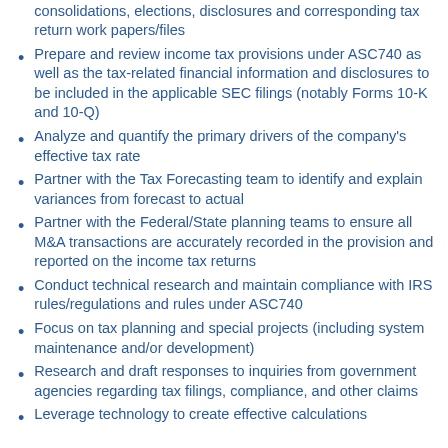Prepare and Review federal consolidations, sub consolidations, elections, disclosures and corresponding tax return work papers/files
Prepare and review income tax provisions under ASC740 as well as the tax-related financial information and disclosures to be included in the applicable SEC filings (notably Forms 10-K and 10-Q)
Analyze and quantify the primary drivers of the company's effective tax rate
Partner with the Tax Forecasting team to identify and explain variances from forecast to actual
Partner with the Federal/State planning teams to ensure all M&A transactions are accurately recorded in the provision and reported on the income tax returns
Conduct technical research and maintain compliance with IRS rules/regulations and rules under ASC740
Focus on tax planning and special projects (including system maintenance and/or development)
Research and draft responses to inquiries from government agencies regarding tax filings, compliance, and other claims
Leverage technology to create effective calculations